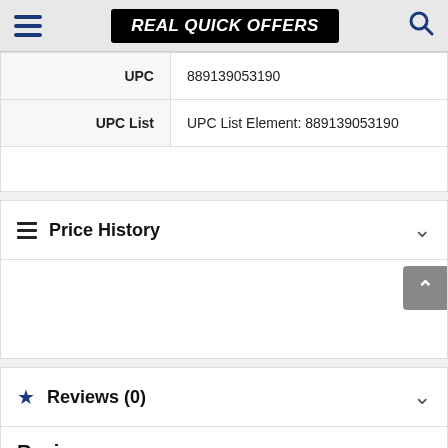REAL QUICK OFFERS
| Field | Value |
| --- | --- |
| UPC | 889139053190 |
| UPC List | UPC List Element: 889139053190 |
Price History
Reviews (0)
Reviews